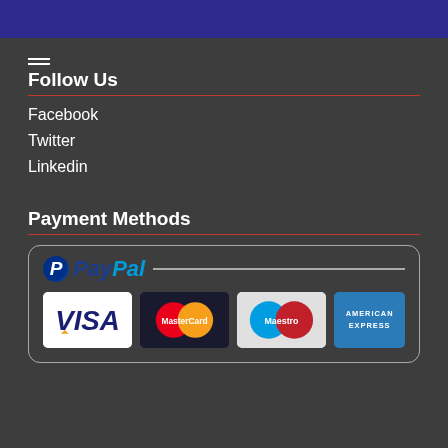Follow Us
Facebook
Twitter
Linkedin
Payment Methods
[Figure (logo): PayPal logo with VISA, MasterCard, Maestro, and American Express card logos in a rounded rectangle box]